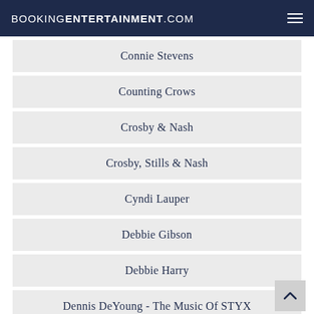BOOKINGENTERTAINMENT.COM
Connie Stevens
Counting Crows
Crosby & Nash
Crosby, Stills & Nash
Cyndi Lauper
Debbie Gibson
Debbie Harry
Dennis DeYoung - The Music Of STYX
Dennis Quaid and the Sharks